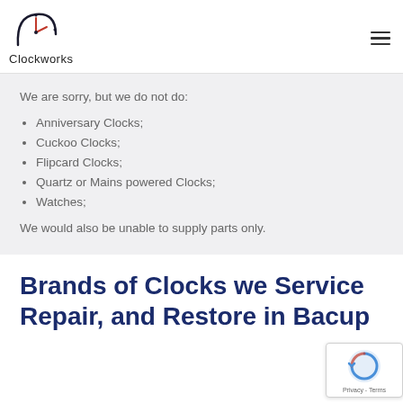Clockworks
We are sorry, but we do not do:
Anniversary Clocks;
Cuckoo Clocks;
Flipcard Clocks;
Quartz or Mains powered Clocks;
Watches;
We would also be unable to supply parts only.
Brands of Clocks we Service Repair, and Restore in Bacup